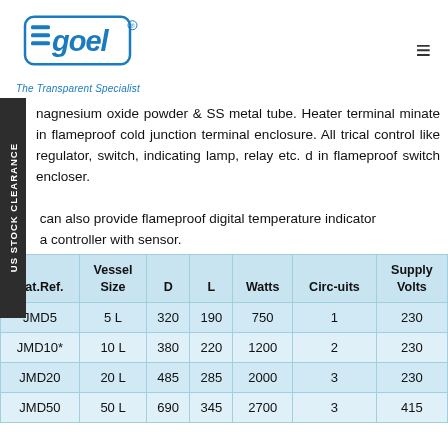[Figure (logo): Goel logo with text 'The Transparent Specialist']
magnesium oxide powder & SS metal tube. Heater terminal minate in flameproof cold junction terminal enclosure. All trical control like regulator, switch, indicating lamp, relay etc. d in flameproof switch encloser.

can also provide flameproof digital temperature indicator a controller with sensor.
| Cat.Ref. | Vessel Size | D | L | Watts | Circ-uits | Supply Volts |
| --- | --- | --- | --- | --- | --- | --- |
| JMD5 | 5 L | 320 | 190 | 750 | 1 | 230 |
| JMD10* | 10 L | 380 | 220 | 1200 | 2 | 230 |
| JMD20 | 20 L | 485 | 285 | 2000 | 3 | 230 |
| JMD50 | 50 L | 690 | 345 | 2700 | 3 | 415 |